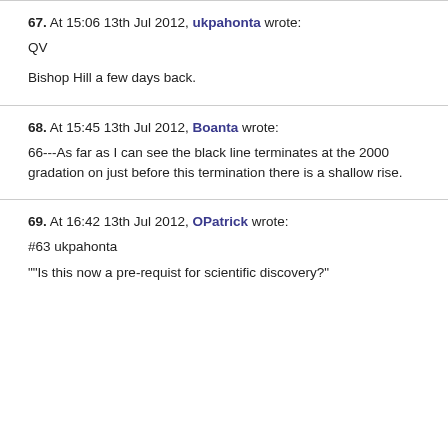67. At 15:06 13th Jul 2012, ukpahonta wrote:
QV
Bishop Hill a few days back.
68. At 15:45 13th Jul 2012, Boanta wrote:
66---As far as I can see the black line terminates at the 2000 gradation on just before this termination there is a shallow rise.
69. At 16:42 13th Jul 2012, OPatrick wrote:
#63 ukpahonta
""Is this now a pre-requist for scientific discovery?"